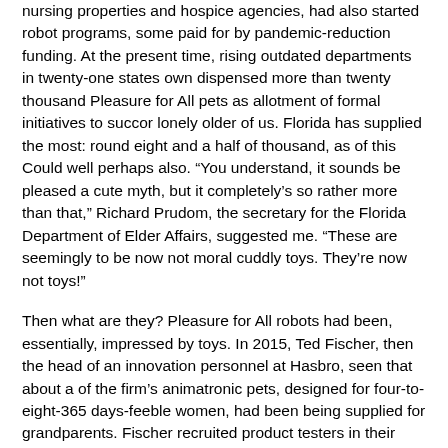nursing properties and hospice agencies, had also started robot programs, some paid for by pandemic-reduction funding. At the present time, rising outdated departments in twenty-one states own dispensed more than twenty thousand Pleasure for All pets as allotment of formal initiatives to succor lonely older of us. Florida has supplied the most: round eight and a half of thousand, as of this Could well perhaps also. “You understand, it sounds be pleased a cute myth, but it completely’s so rather more than that,” Richard Prudom, the secretary for the Florida Department of Elder Affairs, suggested me. “These are seemingly to be now not moral cuddly toys. They’re now not toys!”
Then what are they? Pleasure for All robots had been, essentially, impressed by toys. In 2015, Ted Fischer, then the head of an innovation personnel at Hasbro, seen that about a of the firm’s animatronic pets, designed for four-to-eight-365 days-feeble women, had been being supplied for grandparents. Fischer recruited product testers in their seventies and eighties and introduced them to Hasbro’s FunLab, the place engineers watched them play from at the